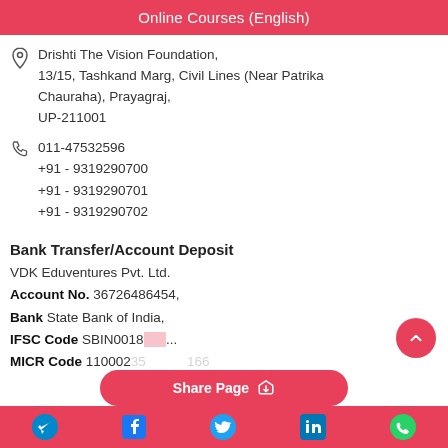Online Courses (English)
Drishti The Vision Foundation,
13/15, Tashkand Marg, Civil Lines (Near Patrika Chauraha), Prayagraj,
UP-211001
011-47532596
+91 - 9319290700
+91 - 9319290701
+91 - 9319290702
Bank Transfer/Account Deposit
VDK Eduventures Pvt. Ltd.
Account No. 36726486454,
Bank State Bank of India,
IFSC Code SBIN0018...
MICR Code 110002...